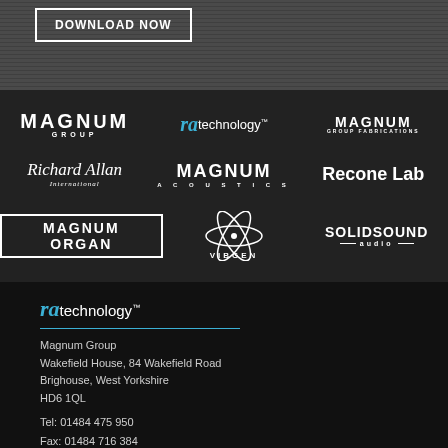DOWNLOAD NOW
[Figure (logo): Magnum Group logo - white bold text]
[Figure (logo): RA Technology logo - ra in blue italic, technology in white]
[Figure (logo): Magnum Group Fabrications logo - white bold text]
[Figure (logo): Richard Allan International logo - italic serif text]
[Figure (logo): Magnum Acoustics logo - bold white text]
[Figure (logo): Recone Lab logo - white bold text]
[Figure (logo): Magnum Organ logo - white bold text in border box]
[Figure (logo): Vibgen logo - stylized text with atom graphic]
[Figure (logo): Solid Sound Audio logo - white bold text]
[Figure (logo): RA Technology footer logo]
Magnum Group
Wakefield House, 84 Wakefield Road
Brighouse, West Yorkshire
HD6 1QL
Tel: 01484 475 950
Fax: 01484 716 384